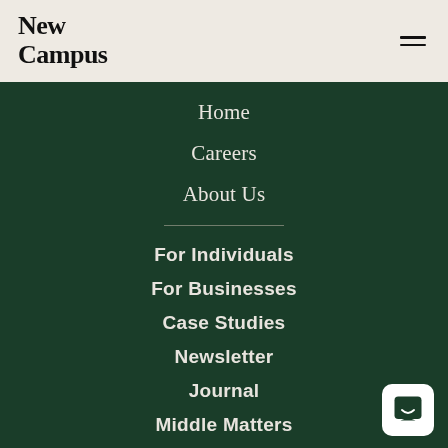[Figure (logo): New Campus logo in black serif text on light beige background]
Home
Careers
About Us
For Individuals
For Businesses
Case Studies
Newsletter
Journal
Middle Matters
Contact